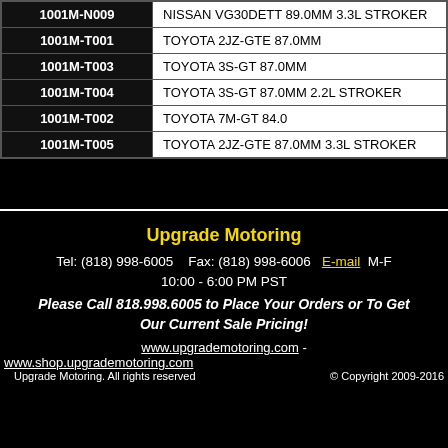| Part Number | Description |
| --- | --- |
| 1001M-N009 | NISSAN VG30DETT 89.0MM 3.3L STROKER |
| 1001M-T001 | TOYOTA 2JZ-GTE 87.0MM |
| 1001M-T003 | TOYOTA 3S-GT 87.0MM |
| 1001M-T004 | TOYOTA 3S-GT 87.0MM 2.2L STROKER |
| 1001M-T002 | TOYOTA 7M-GT 84.0 |
| 1001M-T005 | TOYOTA 2JZ-GTE 87.0MM 3.3L STROKER |
Upgrade Motoring
Tel: (818) 998-6005   Fax: (818) 998-6006  E-mail  M-F 10:00 - 6:00 PM PST
Please Call 818.998.6005 to Place Your Orders or To Get Our Current Sale Pricing!
www.upgrademotoring.com -
www.shop.upgrademotoring.com
© Copyright 2009-2016
Upgrade Motoring. All rights reserved